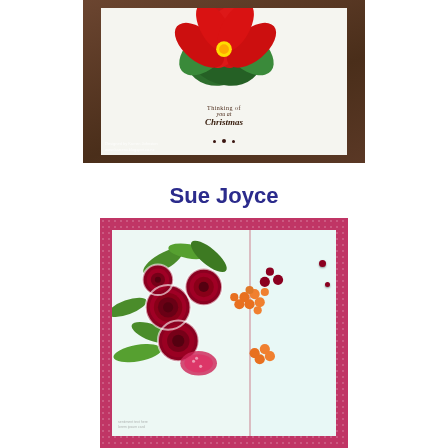[Figure (photo): A Christmas greeting card with a brown/chocolate colored mat, featuring a red poinsettia flower arrangement and text reading 'Thinking of you at Christmas'. Watermark text reads 'Designed by Karren Johnston www.karrenv.blogspot.co.nz']
Sue Joyce
[Figure (photo): A handmade card with a pink/raspberry patterned background, featuring quilled dark red roses, green leaves, orange berries, and pink/red filler flowers arranged in a bouquet on a pale blue/mint cardstock panel with a vertical red line accent.]